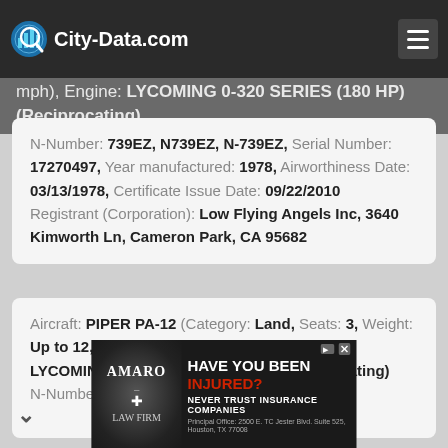City-Data.com
mph), Engine: LYCOMING 0-320 SERIES (180 HP) (Reciprocating)
N-Number: 739EZ, N739EZ, N-739EZ, Serial Number: 17270497, Year manufactured: 1978, Airworthiness Date: 03/13/1978, Certificate Issue Date: 09/22/2010 Registrant (Corporation): Low Flying Angels Inc, 3640 Kimworth Ln, Cameron Park, CA 95682
Aircraft: PIPER PA-12 (Category: Land, Seats: 3, Weight: Up to 12,499 Pounds, Speed: 82 mph), Engine: LYCOMING 0-290 SERIES (140 HP) (Reciprocating)
N-Number: 7793H, N7793H, N-7793H, Serial
[Figure (photo): Advertisement banner for Amaro Law Firm: 'Have You Been Injured? Never Trust Insurance Companies']